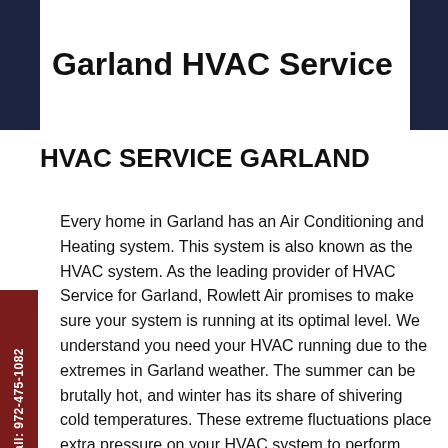Garland HVAC Service
HVAC SERVICE GARLAND
Every home in Garland has an Air Conditioning and Heating system. This system is also known as the HVAC system. As the leading provider of HVAC Service for Garland, Rowlett Air promises to make sure your system is running at its optimal level. We understand you need your HVAC running due to the extremes in Garland weather. The summer can be brutally hot, and winter has its share of shivering cold temperatures. These extreme fluctuations place extra pressure on your HVAC system to perform. Since it is a man-made appliance, it will eventually fail, and you need know the company you call is the trusted HVAC service provider in